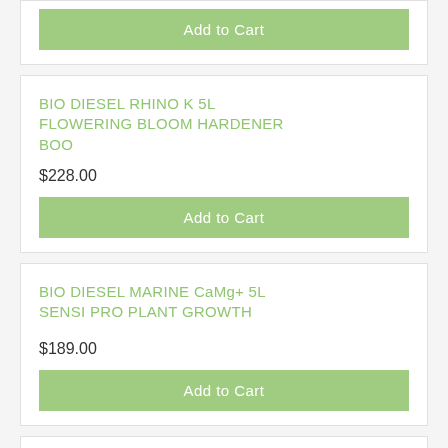Add to Cart
BIO DIESEL RHINO K 5L FLOWERING BLOOM HARDENER BOO
$228.00
Add to Cart
BIO DIESEL MARINE CaMg+ 5L SENSI PRO PLANT GROWTH
$189.00
Add to Cart
BIO DIESEL CRYSTAL CLEAR 5L COCO FLUSH BRIX ENHANC